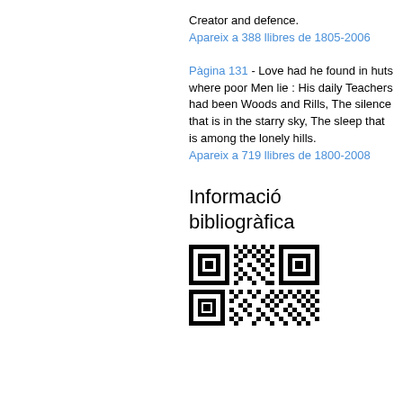Creator and defence. Apareix a 388 llibres de 1805-2006
Pàgina 131 - Love had he found in huts where poor Men lie : His daily Teachers had been Woods and Rills, The silence that is in the starry sky, The sleep that is among the lonely hills. Apareix a 719 llibres de 1800-2008
Informació bibliogràfica
[Figure (other): QR code for bibliographic information]